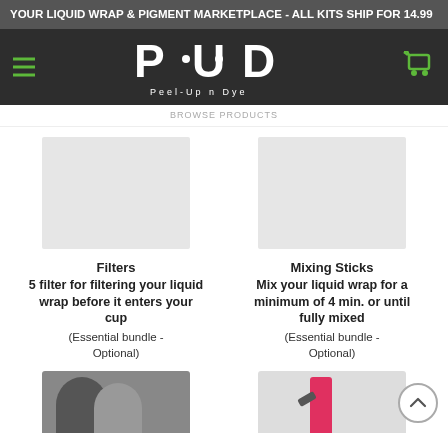YOUR LIQUID WRAP & PIGMENT MARKETPLACE - ALL KITS SHIP FOR 14.99
[Figure (logo): Peel-Up n Dye logo with hamburger menu and cart icon on dark background]
[Figure (photo): Product image placeholder for Filters]
Filters
5 filter for filtering your liquid wrap before it enters your cup
(Essential bundle - Optional)
[Figure (photo): Product image placeholder for Mixing Sticks]
Mixing Sticks
Mix your liquid wrap for a minimum of 4 min. or until fully mixed
(Essential bundle - Optional)
[Figure (photo): Partial product images at bottom of page]